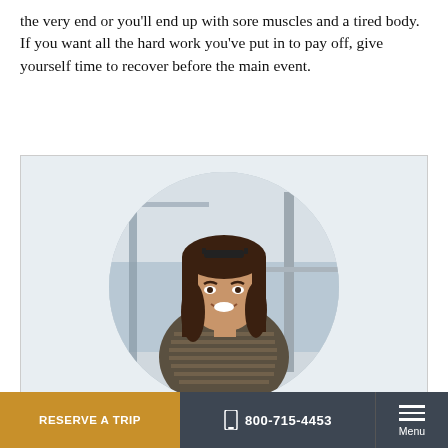the very end or you'll end up with sore muscles and a tired body. If you want all the hard work you've put in to pay off, give yourself time to recover before the main event.
[Figure (photo): A smiling young woman with long brown hair and sunglasses on her head, wearing a striped knit wrap/scarf, seated outdoors near water with a railing visible behind her. Photo is cropped in a circle shape.]
RESERVE A TRIP   800-715-4453   Menu